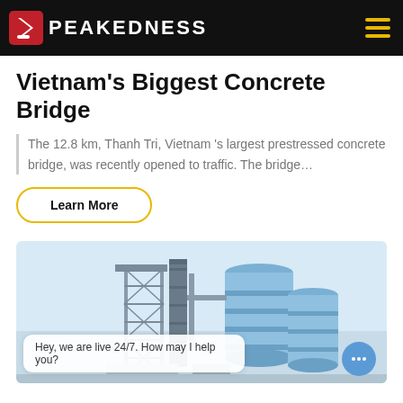PEAKEDNESS
Vietnam’s Biggest Concrete Bridge
The 12.8 km, Thanh Tri, Vietnam ’s largest prestressed concrete bridge, was recently opened to traffic. The bridge…
Learn More
[Figure (photo): Industrial concrete batching plant with metal framework structure and large blue cylindrical silos against a light blue sky background.]
Hey, we are live 24/7. How may I help you?